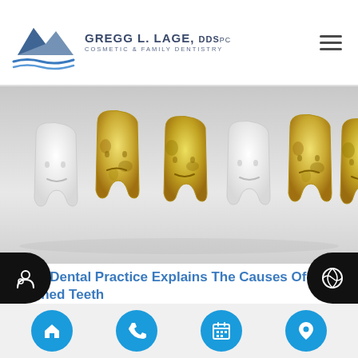Gregg L. Lage, DDS PC Cosmetic & Family Dentistry
[Figure (photo): Six cartoon-style tooth figurines in a row — alternating white and yellow/stained teeth — shown against a white background, illustrating tooth staining.]
Your Dental Practice Explains The Causes Of Stained Teeth
If you have stained teeth, you need to know that a dental practice can often help. While everyone would love to have white teeth like Hollywood celebrities, that is just not realistic. After all, there
Navigation icons: home, phone, calendar, location